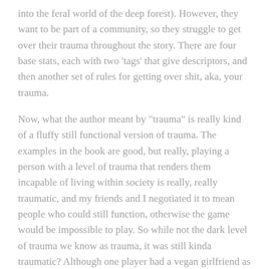into the feral world of the deep forest). However, they want to be part of a community, so they struggle to get over their trauma throughout the story. There are four base stats, each with two 'tags' that give descriptors, and then another set of rules for getting over shit, aka, your trauma.
Now, what the author meant by "trauma" is really kind of a fluffy still functional version of trauma. The examples in the book are good, but really, playing a person with a level of trauma that renders them incapable of living within society is really, really traumatic, and my friends and I negotiated it to mean people who could still function, otherwise the game would be impossible to play. So while not the dark level of trauma we know as trauma, it was still kinda traumatic? Although one player had a vegan girlfriend as his trauma, which was fair.
Two episodes in and one player and myself became very busy, both of us with school, and we ended up not ever picking the campaign up again. I intend to go back to it, one day. Overall I